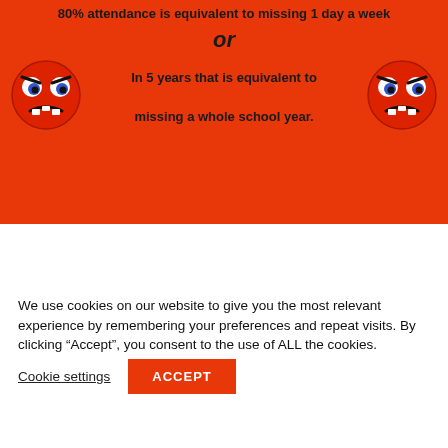80% attendance is equivalent to missing 1 day a week
or
[Figure (illustration): Two red angry face emoji illustrations flanking centered text about school attendance]
In 5 years that is equivalent to missing a whole school year.
[Figure (infographic): Salmon/red colored section — partially visible, part of the original page content]
We use cookies on our website to give you the most relevant experience by remembering your preferences and repeat visits. By clicking “Accept”, you consent to the use of ALL the cookies.
Cookie settings
ACCEPT